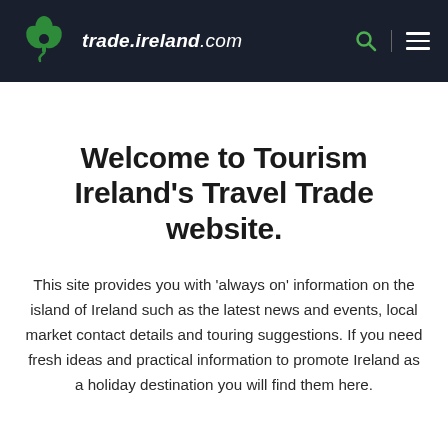trade.ireland.com
Welcome to Tourism Ireland's Travel Trade website.
This site provides you with 'always on' information on the island of Ireland such as the latest news and events, local market contact details and touring suggestions. If you need fresh ideas and practical information to promote Ireland as a holiday destination you will find them here.